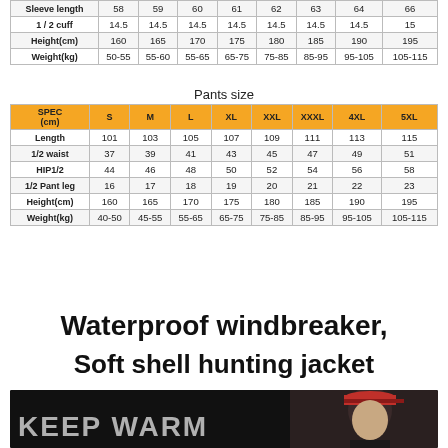|  | S | M | L | XL | XXL | XXXL | 4XL | 5XL |
| --- | --- | --- | --- | --- | --- | --- | --- | --- |
| Sleeve length | 58 | 59 | 60 | 61 | 62 | 63 | 64 | 66 |
| 1/2 cuff | 14.5 | 14.5 | 14.5 | 14.5 | 14.5 | 14.5 | 14.5 | 15 |
| Height(cm) | 160 | 165 | 170 | 175 | 180 | 185 | 190 | 195 |
| Weight(kg) | 50-55 | 55-60 | 55-65 | 65-75 | 75-85 | 85-95 | 95-105 | 105-115 |
Pants size
| SPEC (cm) | S | M | L | XL | XXL | XXXL | 4XL | 5XL |
| --- | --- | --- | --- | --- | --- | --- | --- | --- |
| Length | 101 | 103 | 105 | 107 | 109 | 111 | 113 | 115 |
| 1/2 waist | 37 | 39 | 41 | 43 | 45 | 47 | 49 | 51 |
| HIP1/2 | 44 | 46 | 48 | 50 | 52 | 54 | 56 | 58 |
| 1/2 Pant leg | 16 | 17 | 18 | 19 | 20 | 21 | 22 | 23 |
| Height(cm) | 160 | 165 | 170 | 175 | 180 | 185 | 190 | 195 |
| Weight(kg) | 40-50 | 45-55 | 55-65 | 65-75 | 75-85 | 85-95 | 95-105 | 105-115 |
Waterproof windbreaker, Soft shell hunting jacket
[Figure (photo): Person wearing hunting jacket with KEEP WARM text overlay on dark background]